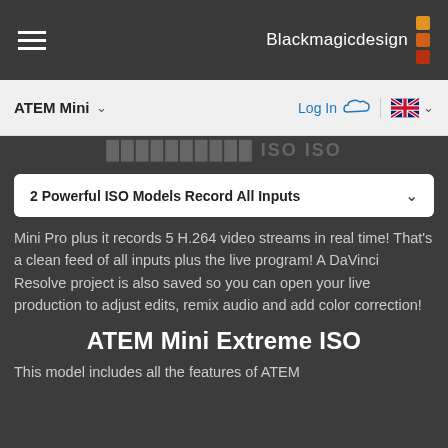[Figure (screenshot): Blackmagic Design website navigation header with hamburger menu on left and Blackmagic Design logo with orange/red squares on right]
ATEM Mini ∨   Log In ☁   🇬🇧 ∨
2 Powerful ISO Models Record All Inputs
Mini Pro plus it records 5 H.264 video streams in real time! That's a clean feed of all inputs plus the live program! A DaVinci Resolve project is also saved so you can open your live production to adjust edits, remix audio and add color correction!
ATEM Mini Extreme ISO
This model includes all the features of ATEM